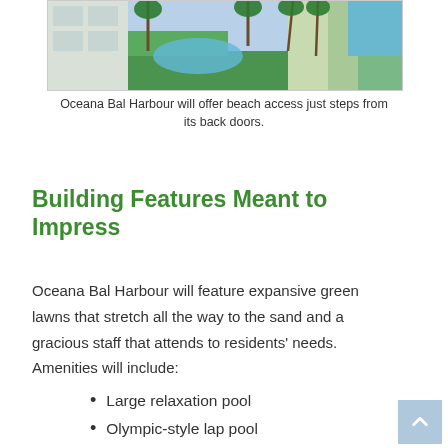[Figure (photo): Aerial view of Oceana Bal Harbour showing pool area, green lawns, palm trees, and beach in the background.]
Oceana Bal Harbour will offer beach access just steps from its back doors.
Building Features Meant to Impress
Oceana Bal Harbour will feature expansive green lawns that stretch all the way to the sand and a gracious staff that attends to residents' needs.  Amenities will include:
Large relaxation pool
Olympic-style lap pool